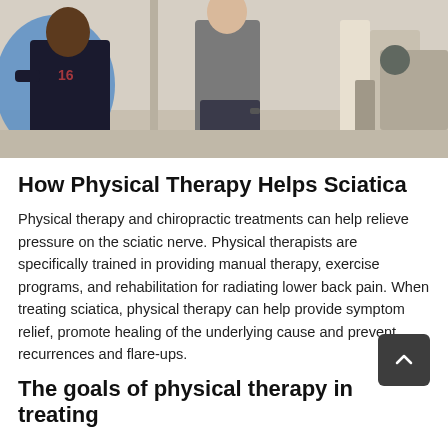[Figure (photo): Two people in a physical therapy gym setting. One person is seated wearing a dark shirt, the other is standing wearing a gray t-shirt. Exercise equipment visible in background.]
How Physical Therapy Helps Sciatica
Physical therapy and chiropractic treatments can help relieve pressure on the sciatic nerve. Physical therapists are specifically trained in providing manual therapy, exercise programs, and rehabilitation for radiating lower back pain. When treating sciatica, physical therapy can help provide symptom relief, promote healing of the underlying cause and prevent recurrences and flare-ups.
The goals of physical therapy in treating